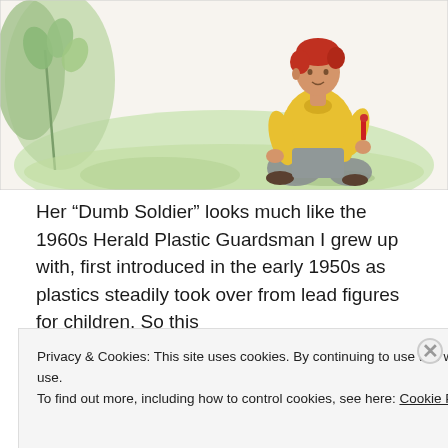[Figure (illustration): Illustration of a boy with red hair wearing a yellow sweater and grey shorts, sitting on grass and holding a small toy soldier figure. There are green plants and foliage in the background on a white/cream background.]
Her “Dumb Soldier” looks much like the 1960s Herald Plastic Guardsman I grew up with, first introduced in the early 1950s as plastics steadily took over from lead figures for children. So this
Privacy & Cookies: This site uses cookies. By continuing to use this website, you agree to their use.
To find out more, including how to control cookies, see here: Cookie Policy